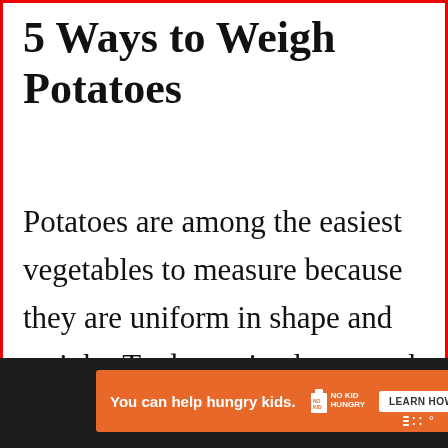5 Ways to Weigh Potatoes
Potatoes are among the easiest vegetables to measure because they are uniform in shape and weight. To determine how much a potato weigh...
[Figure (screenshot): Social media floating buttons: a blue heart/like button and a white share button with a share icon]
[Figure (screenshot): WHAT'S NEXT panel showing a food image and text 'Can you eat salmon 2 da...']
[Figure (screenshot): Orange advertisement banner: 'You can help hungry kids. NO KID HUNGRY LEARN HOW']